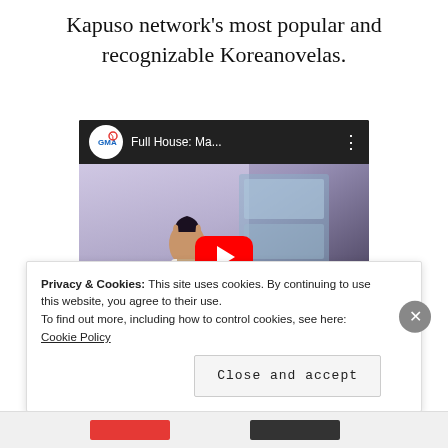Kapuso network's most popular and recognizable Koreanovelas.
[Figure (screenshot): YouTube video thumbnail showing GMA channel video titled 'Full House: Ma...' with a woman in white clothing and a red YouTube play button overlay]
Privacy & Cookies: This site uses cookies. By continuing to use this website, you agree to their use.
To find out more, including how to control cookies, see here: Cookie Policy
Close and accept